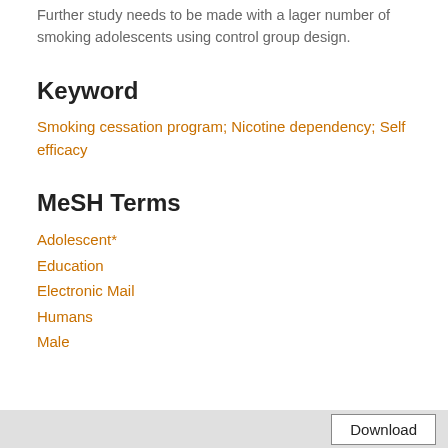Further study needs to be made with a lager number of smoking adolescents using control group design.
Keyword
Smoking cessation program; Nicotine dependency; Self efficacy
MeSH Terms
Adolescent*
Education
Electronic Mail
Humans
Male
Download